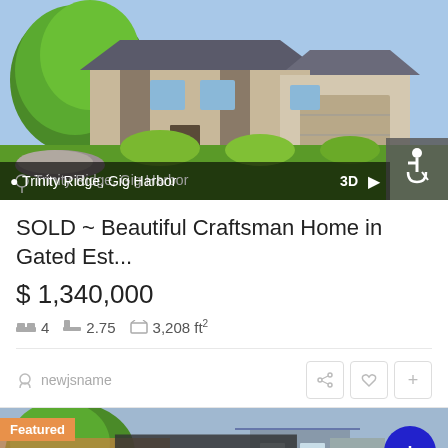[Figure (photo): Craftsman home exterior with green landscaping, stone accents, and two-car garage at Trinity Ridge, Gig Harbor]
SOLD ~ Beautiful Craftsman Home in Gated Est...
$ 1,340,000
4 beds  2.75 baths  3,208 ft²
newjsname
[Figure (photo): Featured listing photo of a home with trees, showing Featured badge, Sold badge, and FREE BUYERS GUIDE button]